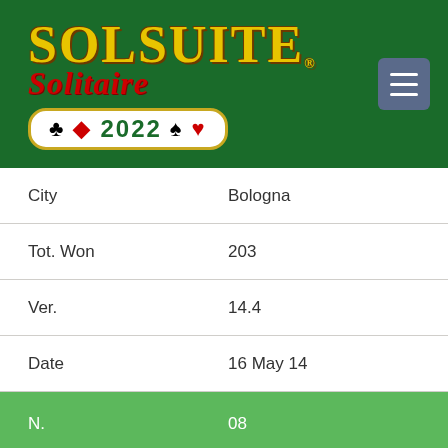[Figure (logo): SolSuite Solitaire 2022 logo on dark green background with card suits and hamburger menu button]
| City | Bologna |
| Tot. Won | 203 |
| Ver. | 14.4 |
| Date | 16 May 14 |
| N. | 08 |
| Name | Pierrot56 |
| Flag |  |